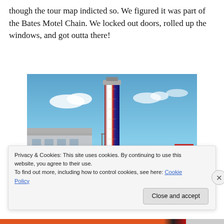though the tour map indicted so. We figured it was part of the Bates Motel Chain. We locked out doors, rolled up the windows, and got outta there!
[Figure (photo): A tall industrial silo or tower painted with red, white, and blue stripes, resembling a rocket. It stands in front of a warehouse building on the left and a red truck on the right, under a partly cloudy blue sky.]
Privacy & Cookies: This site uses cookies. By continuing to use this website, you agree to their use.
To find out more, including how to control cookies, see here: Cookie Policy
Close and accept